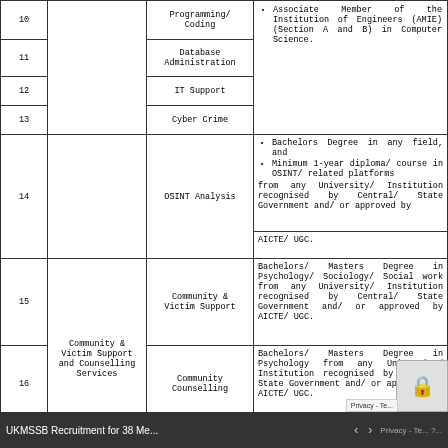| Sr. No. | Category | Specialisation | Qualification |
| --- | --- | --- | --- |
| 10 |  | Programming/ Coding | Associate Member of the Institution of Engineers (AMIE) (Section A and B) in Computer Science. |
| 11 |  | Database Administration |  |
| 12 |  | IT Support |  |
| 13 |  | Cyber Crime |  |
| 14 |  | OSINT Analysis | Bachelors Degree in any field, and Minimum 1-year diploma/ course in OSINT/ related platforms from any University/ Institution recognised by Central/ State Government and/ or approved by AICTE/ UGC. |
|  |  |  | AICTE/ UGC. |
| 15 | Community & Victim Support and Counselling Services | Community & Victim Support | Bachelors/ Masters Degree in Psychology/ Sociology/ Social work from any University/ Institution recognised by Central/ State Government and/ or approved by AICTE/ UGC. |
| 16 |  | Community Counselling | Bachelors/ Masters Degree in Psychology from any University/ Institution recognised by Central/ State Government and/ or approved by AICTE/ UGC. |
|  |  | Forensic Analysis | Bachelors/ Masters Degree in Forensic Science from any University/ Institution recognised... |
UKMSSB Recruitment for 38 Me...